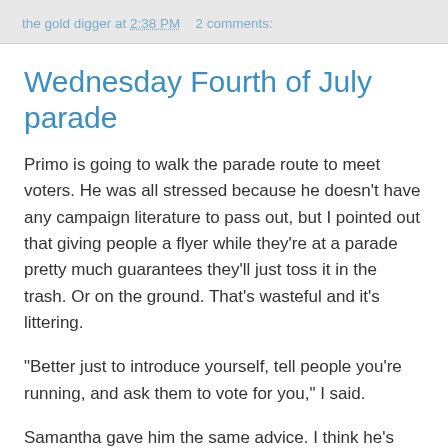the gold digger at 2:38 PM   2 comments:
Wednesday Fourth of July parade
Primo is going to walk the parade route to meet voters. He was all stressed because he doesn't have any campaign literature to pass out, but I pointed out that giving people a flyer while they're at a parade pretty much guarantees they'll just toss it in the trash. Or on the ground. That's wasteful and it's littering.
"Better just to introduce yourself, tell people you're running, and ask them to vote for you," I said.
Samantha gave him the same advice. I think he's reluctant to campaign on his own behalf - he hasn't done it yet.
"I collected nominating signatures," he noted.